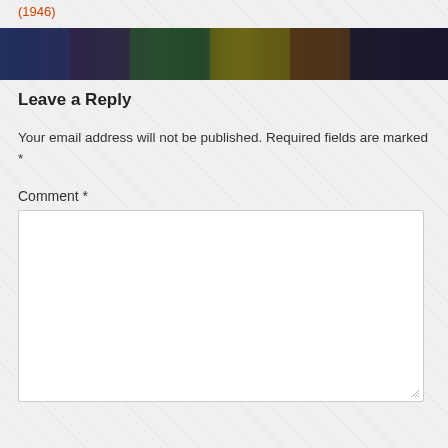(1946)
[Figure (photo): Horizontal banner image showing colorful comic book / gaming artwork collage]
Leave a Reply
Your email address will not be published. Required fields are marked *
Comment *
[Figure (other): Empty comment text area input box]